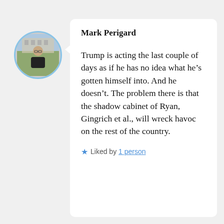[Figure (photo): Circular avatar photo of a man wearing glasses, outdoors in front of a building, with a light blue border.]
Mark Perigard
Trump is acting the last couple of days as if he has no idea what he’s gotten himself into. And he doesn’t. The problem there is that the shadow cabinet of Ryan, Gingrich et al., will wreck havoc on the rest of the country.
★ Liked by 1 person